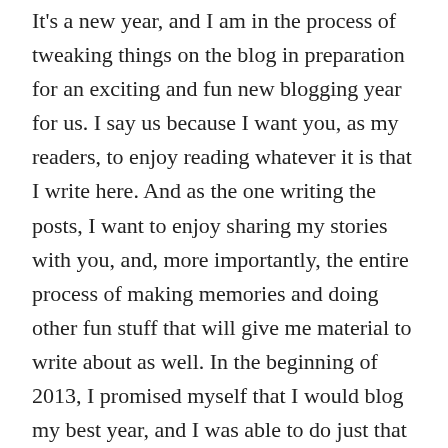It's a new year, and I am in the process of tweaking things on the blog in preparation for an exciting and fun new blogging year for us. I say us because I want you, as my readers, to enjoy reading whatever it is that I write here. And as the one writing the posts, I want to enjoy sharing my stories with you, and, more importantly, the entire process of making memories and doing other fun stuff that will give me material to write about as well. In the beginning of 2013, I promised myself that I would blog my best year, and I was able to do just that with the help of my friend, Martine, and her oh-so-helpful Write On Workshops. Now, at the start of 2014, I'm claiming another great year of blogging, and I know I can do it!